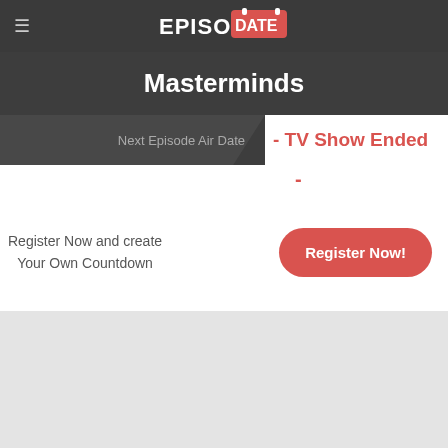EpisoDate
Masterminds
Next Episode Air Date
- TV Show Ended
-
Register Now and create Your Own Countdown
Register Now!